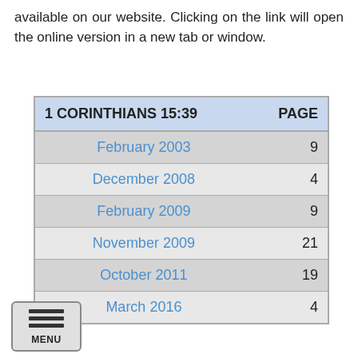available on our website. Clicking on the link will open the online version in a new tab or window.
| 1 CORINTHIANS 15:39 | PAGE |
| --- | --- |
| February 2003 | 9 |
| December 2008 | 4 |
| February 2009 | 9 |
| November 2009 | 21 |
| October 2011 | 19 |
| March 2016 | 4 |
[Figure (other): Menu button with three horizontal bars and MENU label]